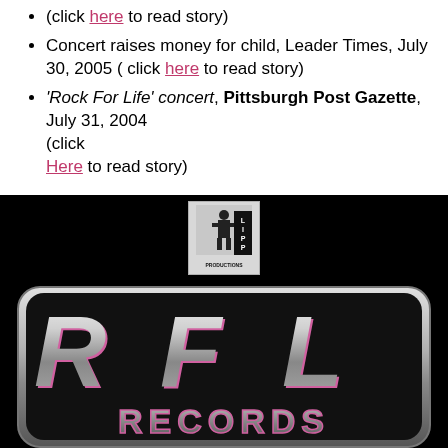(click here to read story)
Concert raises money for child, Leader Times, July 30, 2005 ( click here to read story)
'Rock For Life' concert, Pittsburgh Post Gazette, July 31, 2004 (click Here to read story)
[Figure (logo): Lipp Productions logo - small black and white logo with figure and text LIPP PRODUCTIONS]
[Figure (logo): RFL Records logo - large stylized chrome and pink letters RFL on black background with RECORDS text below]